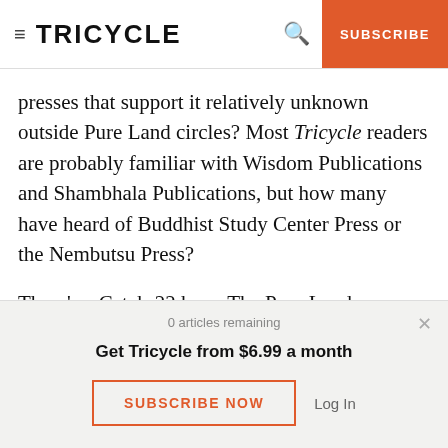TRICYCLE | SUBSCRIBE
presses that support it relatively unknown outside Pure Land circles? Most Tricycle readers are probably familiar with Wisdom Publications and Shambhala Publications, but how many have heard of Buddhist Study Center Press or the Nembutsu Press?
There's a Catch-22 here. The Pure Land community is large enough that it's never had to court
0 articles remaining
Get Tricycle from $6.99 a month
SUBSCRIBE NOW
Log In